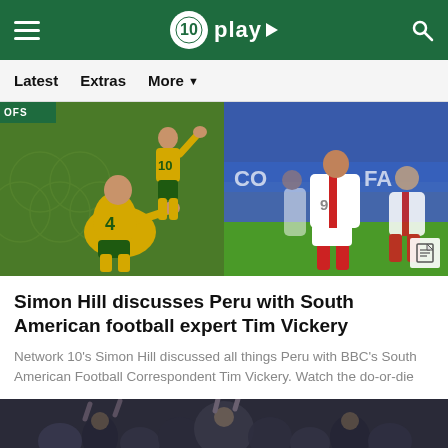10 play
Latest   Extras   More
[Figure (photo): Two soccer images side by side: left shows Australian players in yellow/green kit on the grass, right shows Peruvian players in white/red kit on pitch.]
Simon Hill discusses Peru with South American football expert Tim Vickery
Network 10's Simon Hill discussed all things Peru with BBC's South American Football Correspondent Tim Vickery. Watch the do-or-die
[Figure (photo): Bottom portion of a crowd scene at a soccer stadium, dark and crowded.]